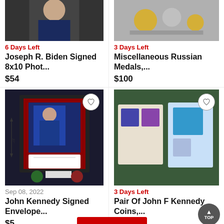[Figure (photo): Partial photo of person (Biden signed photo listing), cropped at top]
6 Days Left
Joseph R. Biden Signed 8x10 Phot...
$54
[Figure (photo): Partial image of Russian medals listing, cropped at top]
3 Days Left
Miscellaneous Russian Medals,...
$100
[Figure (photo): Framed John Kennedy signed envelope with photo and authentication seals]
Sep 08, 2022
John Kennedy Signed Envelope...
$5
[Figure (photo): Pair of JFK coin sets on green surface]
3 Days Left
Pair Of John F Kennedy Coins,...
$5